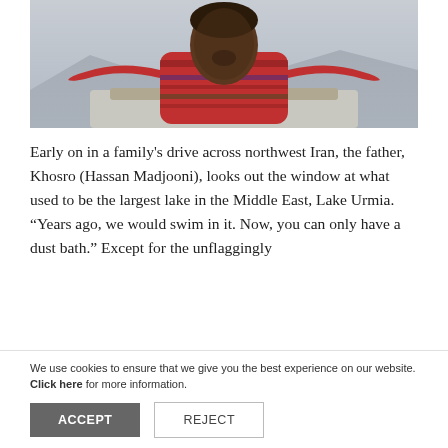[Figure (photo): A child with arms raised joyfully, wearing a colorful patterned sweater, photographed from below against a grey sky. The child appears to be standing through a car sunroof. Mountains are faintly visible in the background.]
Early on in a family's drive across northwest Iran, the father, Khosro (Hassan Madjooni), looks out the window at what used to be the largest lake in the Middle East, Lake Urmia. “Years ago, we would swim in it. Now, you can only have a dust bath.” Except for the unflaggingly
We use cookies to ensure that we give you the best experience on our website. Click here for more information.